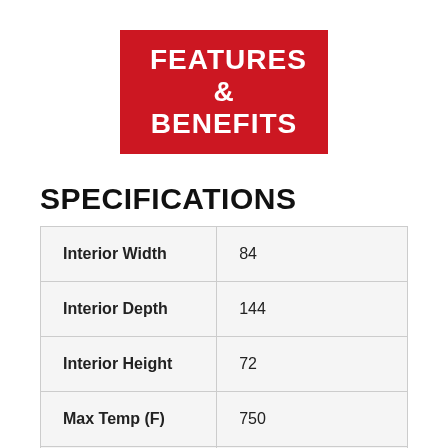FEATURES & BENEFITS
SPECIFICATIONS
| Interior Width | 84 |
| Interior Depth | 144 |
| Interior Height | 72 |
| Max Temp (F) | 750 |